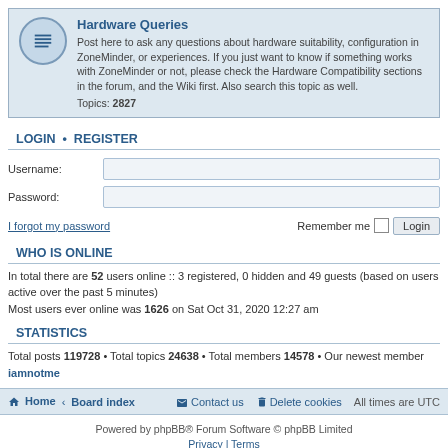Hardware Queries — Post here to ask any questions about hardware suitability, configuration in ZoneMinder, or experiences. If you just want to know if something works with ZoneMinder or not, please check the Hardware Compatibility sections in the forum, and the Wiki first. Also search this topic as well. Topics: 2827
LOGIN • REGISTER
Username:
Password:
I forgot my password   Remember me [ ] Login
WHO IS ONLINE
In total there are 52 users online :: 3 registered, 0 hidden and 49 guests (based on users active over the past 5 minutes)
Most users ever online was 1626 on Sat Oct 31, 2020 12:27 am
STATISTICS
Total posts 119728 • Total topics 24638 • Total members 14578 • Our newest member iamnotme
Home • Board index   Contact us   Delete cookies   All times are UTC
Powered by phpBB® Forum Software © phpBB Limited
Privacy | Terms